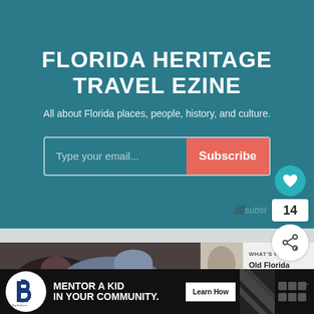FLORIDA HERITAGE TRAVEL EZINE
All about Florida places, people, history, and culture.
Type your email...
Subscribe
14
subst
[Figure (photo): Two people lying down, article thumbnail image]
WHAT'S NEXT →
Old Florida Orlando Are...
[Figure (photo): Small article thumbnail showing a florida map/illustration]
MENTOR A KID IN YOUR COMMUNITY.
Learn How
[Figure (logo): Big Brothers Big Sisters of America logo]
[Figure (illustration): Diagonal stripe pattern]